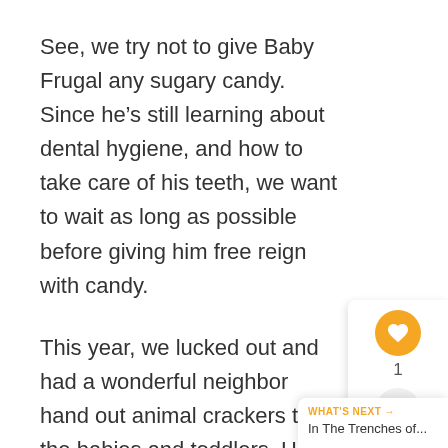See, we try not to give Baby Frugal any sugary candy. Since he’s still learning about dental hygiene, and how to take care of his teeth, we want to wait as long as possible before giving him free reign with candy.
This year, we lucked out and had a wonderful neighbor hand out animal crackers to the babies and toddlers. He was so happy to finally get his own treat! I have to admit, so was I.